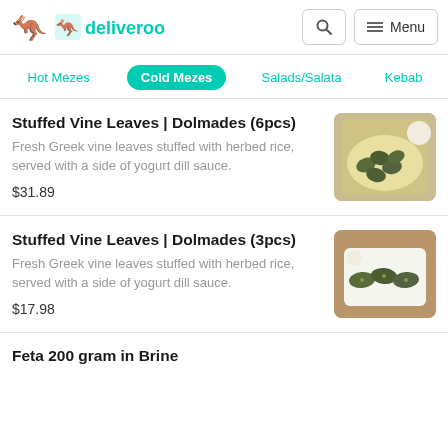[Figure (logo): Deliveroo logo with teal kangaroo icon and 'deliveroo' wordmark]
deliveroo | Search | Menu
Hot Mezes
Cold Mezes (active)
Salads/Salata
Kebab
Stuffed Vine Leaves | Dolmades (6pcs)
Fresh Greek vine leaves stuffed with herbed rice, served with a side of yogurt dill sauce.
$31.89
[Figure (photo): Photo of stuffed vine leaves dolmades on a white plate with yogurt dill sauce]
Stuffed Vine Leaves | Dolmades (3pcs)
Fresh Greek vine leaves stuffed with herbed rice, served with a side of yogurt dill sauce.
$17.98
[Figure (photo): Photo of 3 stuffed vine leaves on a white plate with yogurt sauce]
Feta 200 gram in Brine